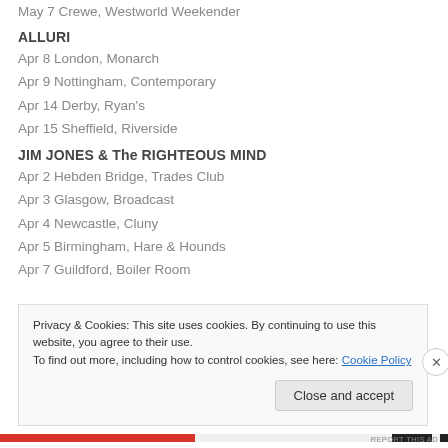May 7 Crewe, Westworld Weekender
ALLURI
Apr 8 London, Monarch
Apr 9 Nottingham, Contemporary
Apr 14 Derby, Ryan's
Apr 15 Sheffield, Riverside
JIM JONES & The RIGHTEOUS MIND
Apr 2 Hebden Bridge, Trades Club
Apr 3 Glasgow, Broadcast
Apr 4 Newcastle, Cluny
Apr 5 Birmingham, Hare & Hounds
Apr 7 Guildford, Boiler Room
Privacy & Cookies: This site uses cookies. By continuing to use this website, you agree to their use. To find out more, including how to control cookies, see here: Cookie Policy